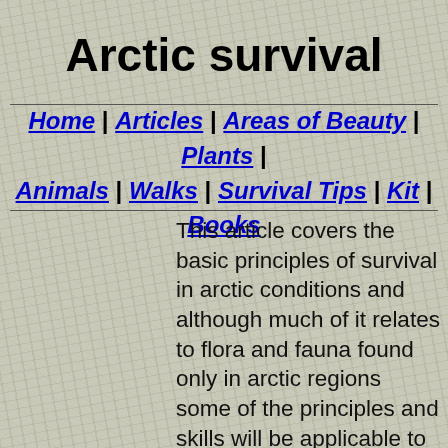Arctic survival
Home | Articles | Areas of Beauty | Plants | Animals | Walks | Survival Tips | Kit | Books
This article covers the basic principles of survival in arctic conditions and although much of it relates to flora and fauna found only in arctic regions some of the principles and skills will be applicable to conditions of extreme cold any where in the world. For example at